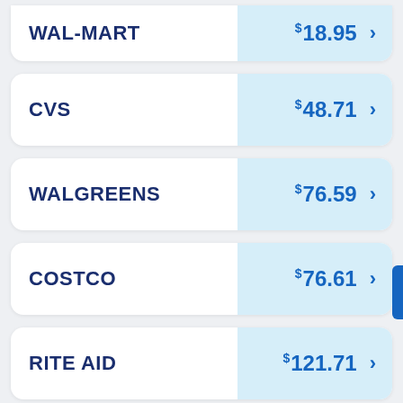WAL-MART $18.95
CVS $48.71
WALGREENS $76.59
COSTCO $76.61
RITE AID $121.71